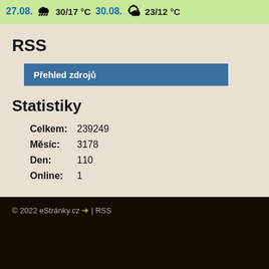[Figure (infographic): Weather widget showing two dates: 27.08. with rain icon 30/17°C and 30.08. with sun icon 23/12°C on green background]
RSS
Přehled zdrojů
Statistiky
| Celkem: | 239249 |
| Měsíc: | 3178 |
| Den: | 110 |
| Online: | 1 |
© 2022 eStránky.cz → | RSS